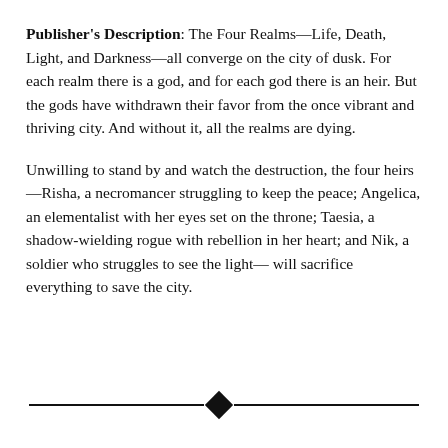Publisher's Description: The Four Realms—Life, Death, Light, and Darkness—all converge on the city of dusk. For each realm there is a god, and for each god there is an heir. But the gods have withdrawn their favor from the once vibrant and thriving city. And without it, all the realms are dying.
Unwilling to stand by and watch the destruction, the four heirs—Risha, a necromancer struggling to keep the peace; Angelica, an elementalist with her eyes set on the throne; Taesia, a shadow-wielding rogue with rebellion in her heart; and Nik, a soldier who struggles to see the light— will sacrifice everything to save the city.
[Figure (other): Decorative horizontal divider with a diamond shape in the center and lines extending to both sides.]